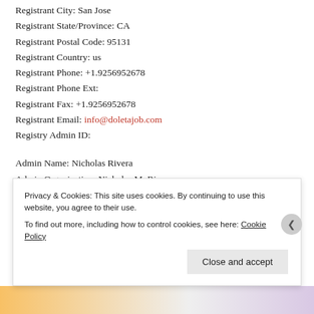Registrant City: San Jose
Registrant State/Province: CA
Registrant Postal Code: 95131
Registrant Country: us
Registrant Phone: +1.9256952678
Registrant Phone Ext:
Registrant Fax: +1.9256952678
Registrant Email: info@doletajob.com
Registry Admin ID:
Admin Name: Nicholas Rivera
Admin Organization: Nicholas M. Rivera
Admin Street: 4942 Alexander Avenue
Admin City: San Jose
Privacy & Cookies: This site uses cookies. By continuing to use this website, you agree to their use. To find out more, including how to control cookies, see here: Cookie Policy
Close and accept